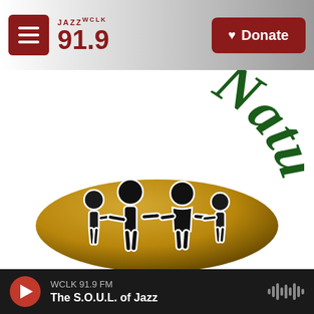JAZZ WCLK 91.9 — Donate
[Figure (logo): Natural Family logo: large dark green arched script text 'Natural' above a golden-brown oval containing silhouettes of a family of four holding hands (two adults, two children)]
WCLK 91.9 FM — The S.O.U.L. of Jazz